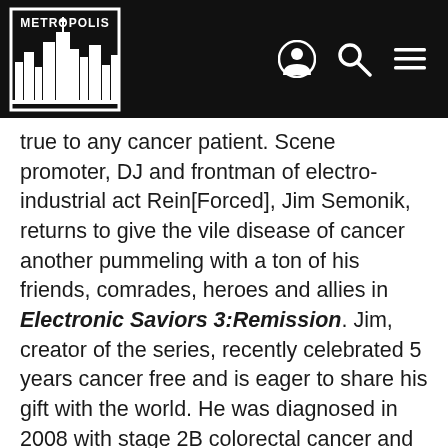Metropolis (logo with navigation icons)
true to any cancer patient. Scene promoter, DJ and frontman of electro-industrial act Rein[Forced], Jim Semonik, returns to give the vile disease of cancer another pummeling with a ton of his friends, comrades, heroes and allies in Electronic Saviors 3:Remission. Jim, creator of the series, recently celebrated 5 years cancer free and is eager to share his gift with the world. He was diagnosed in 2008 with stage 2B colorectal cancer and has since made Electronic Saviors his dream project along with close friend Chase Dudley (boxed warning). The Electronic Saviors series has been one of the most successful compilation series in industrial scene history having already raised over 30K for charity. Semonik once again returns with an